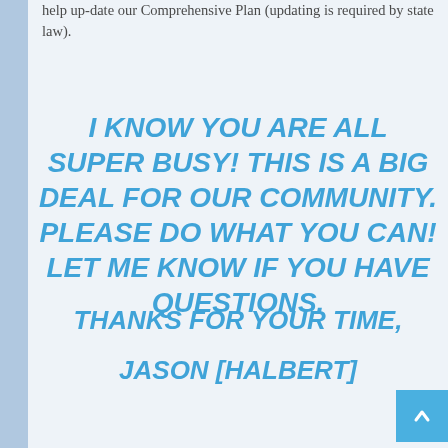help up-date our Comprehensive Plan (updating is required by state law).
I KNOW YOU ARE ALL SUPER BUSY! THIS IS A BIG DEAL FOR OUR COMMUNITY. PLEASE DO WHAT YOU CAN! LET ME KNOW IF YOU HAVE QUESTIONS.
THANKS FOR YOUR TIME,
JASON [HALBERT]